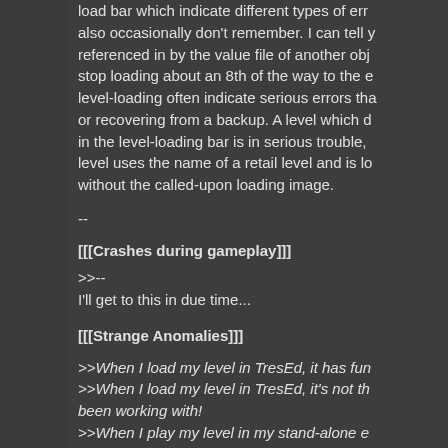load bar which indicate different types of errors I also occasionally don't remember. I can tell y referenced in by the value file of another obj stop loading about an 8th of the way to the e level-loading often indicate serious errors tha or recovering from a backup. A level which d in the level-loading bar is in serious trouble, level uses the name of a retail level and is lo without the called-upon loading image.
--
[[[Crashes during gameplay]]]
>>--
I'll get to this in due time...
[[[Strange Anomalies]]]
>>When I load my level in TresEd, it has fun
>>When I load my level in TresEd, it's not th been working with!
>>When I play my level in my stand-alone e the changes I've made!